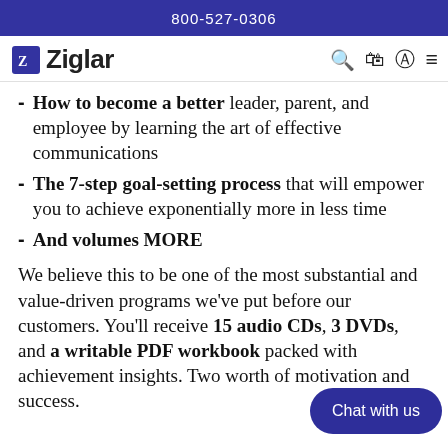800-527-0306
How to become a better leader, parent, and employee by learning the art of effective communications
The 7-step goal-setting process that will empower you to achieve exponentially more in less time
And volumes MORE
We believe this to be one of the most substantial and value-driven programs we've put before our customers. You'll receive 15 audio CDs, 3 DVDs, and a writable PDF workbook packed with achievement insights. Two worth of motivation and success.